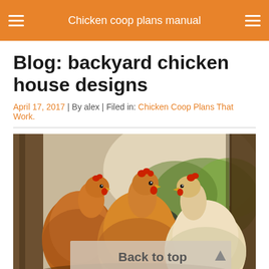Chicken coop plans manual
Blog: backyard chicken house designs
April 17, 2017 | By alex | Filed in: Chicken Coop Plans That Work.
[Figure (photo): Three golden/buff chickens standing in a chicken coop with wooden beams and wire fencing visible in the background, with a 'Back to top' overlay button at the bottom center of the image.]